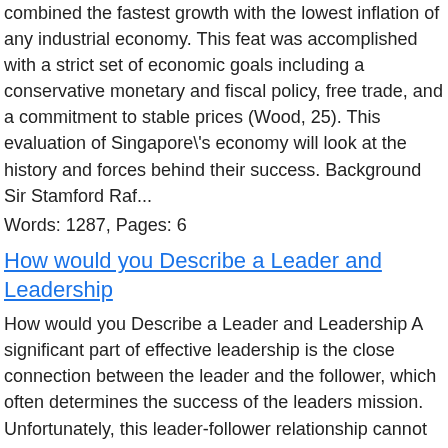combined the fastest growth with the lowest inflation of any industrial economy. This feat was accomplished with a strict set of economic goals including a conservative monetary and fiscal policy, free trade, and a commitment to stable prices (Wood, 25). This evaluation of Singapore's economy will look at the history and forces behind their success. Background Sir Stamford Raf...
Words: 1287, Pages: 6
How would you Describe a Leader and Leadership
How would you Describe a Leader and Leadership A significant part of effective leadership is the close connection between the leader and the follower, which often determines the success of the leaders mission. Unfortunately, this leader-follower relationship cannot be created according to some simple